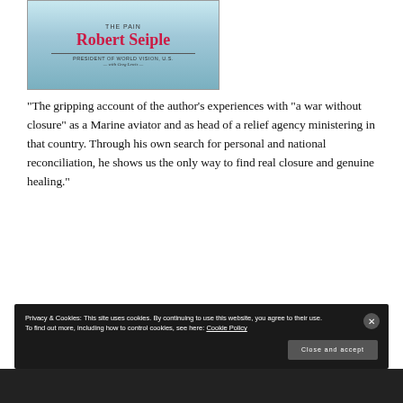[Figure (photo): Book cover showing 'The Pain' by Robert Seiple, President of World Vision U.S., with Greg Lewis. Cover has light blue gradient background with author name in red text.]
“The gripping account of the author’s experiences with “a war without closure” as a Marine aviator and as head of a relief agency ministering in that country. Through his own search for personal and national reconciliation, he shows us the only way to find real closure and genuine healing.”
Privacy & Cookies: This site uses cookies. By continuing to use this website, you agree to their use. To find out more, including how to control cookies, see here: Cookie Policy